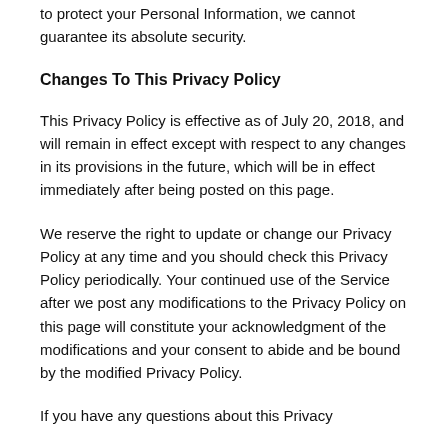to protect your Personal Information, we cannot guarantee its absolute security.
Changes To This Privacy Policy
This Privacy Policy is effective as of July 20, 2018, and will remain in effect except with respect to any changes in its provisions in the future, which will be in effect immediately after being posted on this page.
We reserve the right to update or change our Privacy Policy at any time and you should check this Privacy Policy periodically. Your continued use of the Service after we post any modifications to the Privacy Policy on this page will constitute your acknowledgment of the modifications and your consent to abide and be bound by the modified Privacy Policy.
If you have any questions about this Privacy